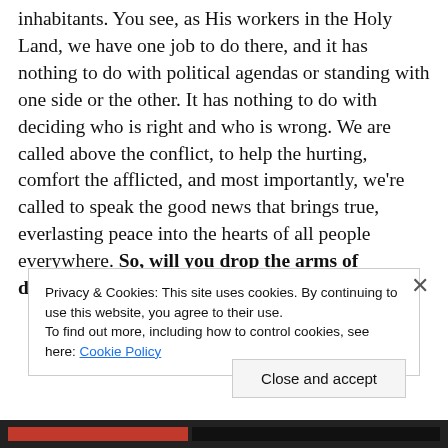inhabitants. You see, as His workers in the Holy Land, we have one job to do there, and it has nothing to do with political agendas or standing with one side or the other. It has nothing to do with deciding who is right and who is wrong. We are called above the conflict, to help the hurting, comfort the afflicted, and most importantly, we're called to speak the good news that brings true, everlasting peace into the hearts of all people everywhere. So, will you drop the arms of distorted positions, arguments, and
Privacy & Cookies: This site uses cookies. By continuing to use this website, you agree to their use.
To find out more, including how to control cookies, see here: Cookie Policy
Close and accept